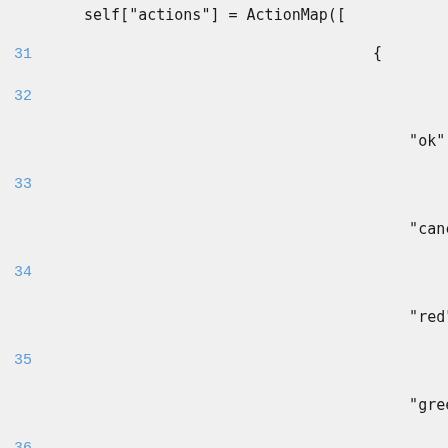self["actions"] = ActionMap([
31    {
32
"ok": self.ope
33
"cancel": sel
34
"red": self.re
35
"green": self
36
"blue": self.
37
"yellow": sel
38
"log": self.sh
39
"left": self.l
40
"right": self